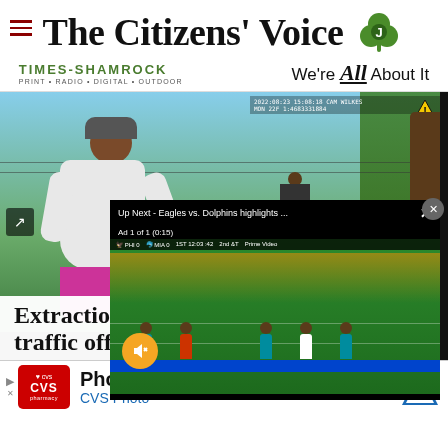The Citizens' Voice — Times-Shamrock • Print • Radio • Digital • Outdoor — We're All About It
[Figure (screenshot): Screenshot of The Citizens' Voice news website showing a video player with an Eagles vs. Dolphins highlights overlay ad popup over a background video of a woman in a white shirt outdoors. Headline below reads 'Extraction 11 D... traffic offenses'. A CVS pharmacy advertisement banner appears at the bottom with text 'Photo Deals At CVS® CVS Photo'.]